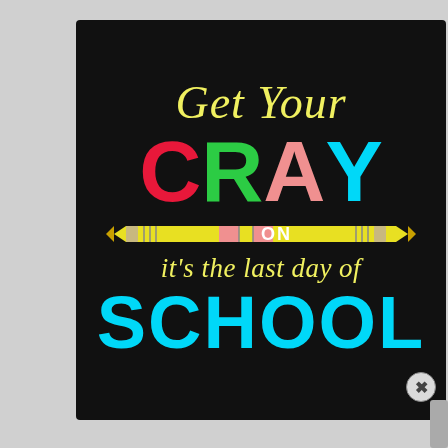[Figure (illustration): Black background poster with colorful text reading 'Get Your CRAY ON it's the last day of SCHOOL'. 'Get Your' in yellow italic script, 'C' in red, 'R' in green, 'A' in pink, 'Y' in cyan bold block letters. Two pencil graphics flank 'ON' in white. 'it's the last day of' in yellow italic. 'SCHOOL' in large cyan bold letters. A close/X button circle at bottom right.]